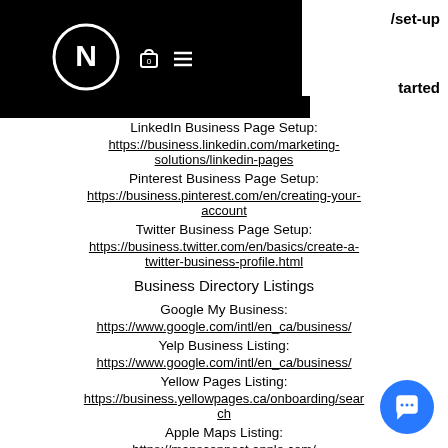Navigation header with logo and menu icons
LinkedIn Business Page Setup:
https://business.linkedin.com/marketing-solutions/linkedin-pages
Pinterest Business Page Setup:
https://business.pinterest.com/en/creating-your-account
Twitter Business Page Setup:
https://business.twitter.com/en/basics/create-a-twitter-business-profile.html
Business Directory Listings
Google My Business:
https://www.google.com/intl/en_ca/business/
Yelp Business Listing:
https://www.google.com/intl/en_ca/business/
Yellow Pages Listing:
https://business.yellowpages.ca/onboarding/search
Apple Maps Listing:
https://mapsconnect.apple.com/